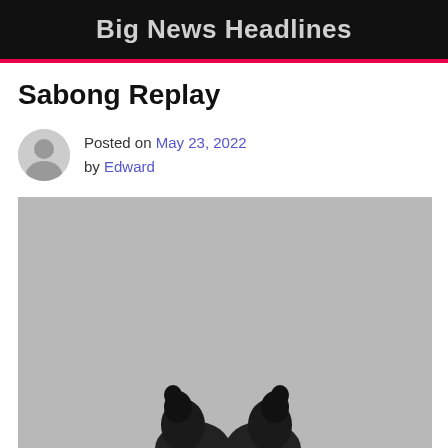Big News Headlines
Sabong Replay
Posted on May 23, 2022 by Edward
[Figure (photo): Black and white photograph showing two roosters (sabong/cockfighting) partially visible at the bottom of the frame against a grey background]